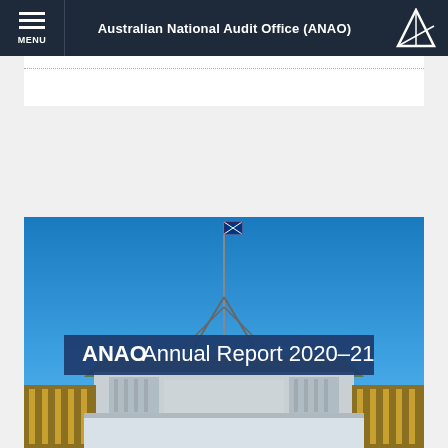Australian National Audit Office (ANAO)
VIEW ITEM »
ANNUAL REPORT
[Figure (photo): Cover image of ANAO Annual Report 2020-21 showing Parliament House Canberra with flag on top against blue sky, with dark blue banner overlay reading 'ANAO Annual Report 2020–21']